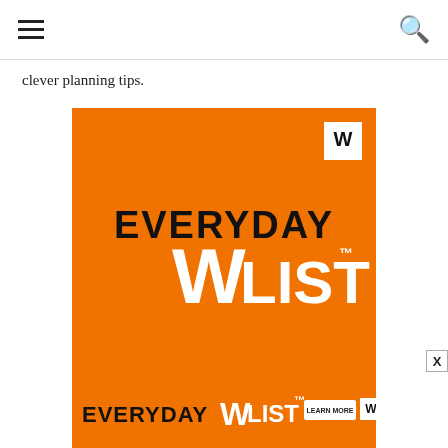clever planning tips.
[Figure (logo): Everyday W List advertisement on orange background with white W logo box in top right corner. Large text reads EVERYDAY WLIST with trademark symbol.]
[Figure (logo): Everyday W List banner advertisement on orange background with EVERYDAY WLIST text and LEARN MORE button with W logo box.]